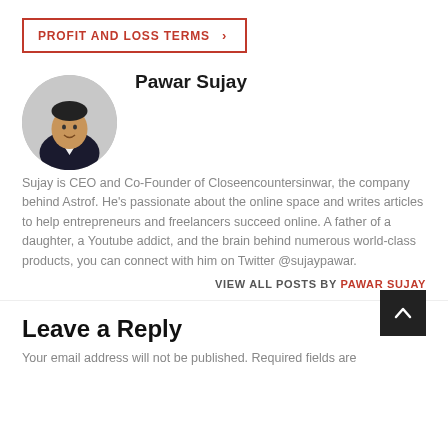PROFIT AND LOSS TERMS
[Figure (photo): Circular headshot photo of Pawar Sujay, a man in a dark suit jacket and white shirt, smiling]
Pawar Sujay
Sujay is CEO and Co-Founder of Closeencountersinwar, the company behind Astrof. He's passionate about the online space and writes articles to help entrepreneurs and freelancers succeed online. A father of a daughter, a Youtube addict, and the brain behind numerous world-class products, you can connect with him on Twitter @sujaypawar.
VIEW ALL POSTS BY PAWAR SUJAY
Leave a Reply
Your email address will not be published. Required fields are